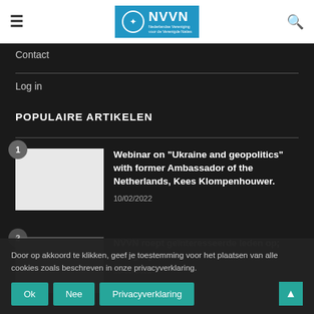[Figure (logo): NVVN logo - Nederlandse Vereniging voor de Verenigde Naties, blue background with emblem]
Contact
Log in
POPULAIRE ARTIKELEN
[Figure (photo): Article 1 thumbnail image - white/blank]
Webinar on "Ukraine and geopolitics" with former Ambassador of the Netherlands, Kees Klompenhouwer.
10/02/2022
[Figure (photo): Article 2 thumbnail image - gray, partially visible]
NVVN roept geïnteresseerde leden op; draag bij aan de
13/06/2021
Door op akkoord te klikken, geef je toestemming voor het plaatsen van alle cookies zoals beschreven in onze privacyverklaring.